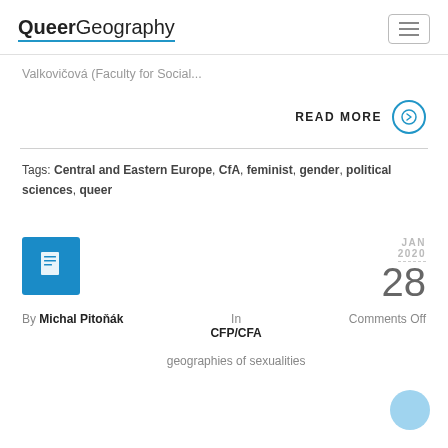QueerGeography
Valkovičová (Faculty for Social...
READ MORE →
Tags: Central and Eastern Europe, CfA, feminist, gender, political sciences, queer
[Figure (logo): Blue square icon with white document symbol]
JAN 2020  28
By Michal Pitoňák  In CFP/CFA geographies of sexualities  Comments Off